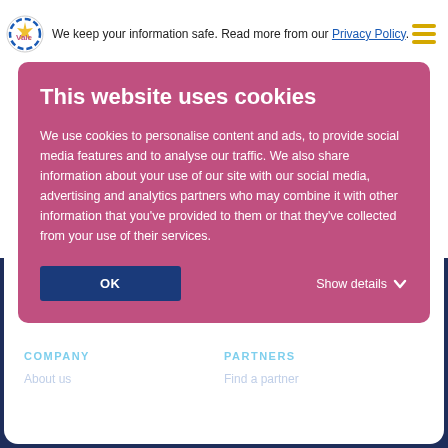We keep your information safe. Read more from our Privacy Policy.
This website uses cookies
We use cookies to personalise content and ads, to provide social media features and to analyse our traffic. We also share information about your use of our site with our social media, advertising and analytics partners who may combine it with other information that you've provided to them or that they've collected from your use of their services.
OK
Show details
[Figure (infographic): Row of social media icons: Facebook, Twitter, LinkedIn, Instagram, YouTube, RSS]
COMPANY
PARTNERS
About us
Find a partner